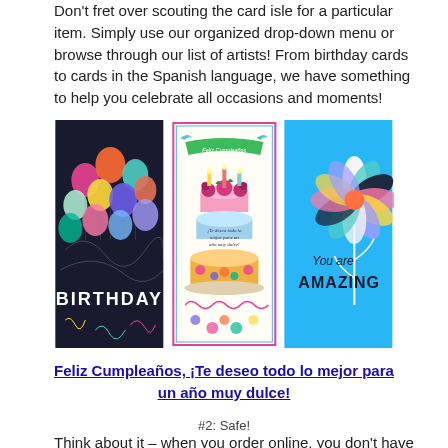Don't fret over scouting the card isle for a particular item. Simply use our organized drop-down menu or browse through our list of artists! From birthday cards to cards in the Spanish language, we have something to help you celebrate all occasions and moments!
[Figure (photo): Three greeting cards side by side: a dark birthday card with colorful balloons, a Spanish-language birthday card with a decorated cake, and a blue card with a colorful flower saying 'You are AMAZING'.]
Feliz Cumpleaños, ¡Te deseo todo lo mejor para un año muy dulce!
#2: Safe!
Think about it – when you order online, you don't have to leave your house, wear a mask, or worry about social distancing. You